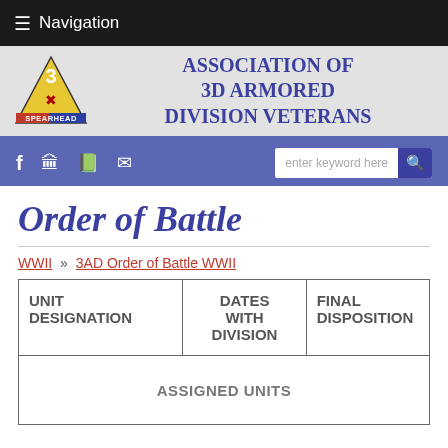≡ Navigation
[Figure (logo): Association of 3D Armored Division Veterans banner with Spearhead division patch logo (yellow triangle with number 3) and blue title text]
icon bar with facebook, building, map, mail icons and search box
Order of Battle
WWII » 3AD Order of Battle WWII
| UNIT DESIGNATION | DATES WITH DIVISION | FINAL DISPOSITION |
| --- | --- | --- |
| ASSIGNED UNITS |  |  |